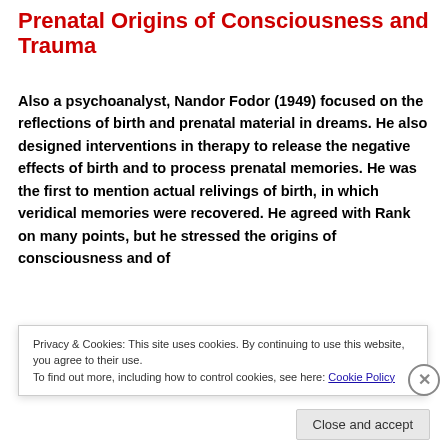Prenatal Origins of Consciousness and Trauma
Also a psychoanalyst, Nandor Fodor (1949) focused on the reflections of birth and prenatal material in dreams. He also designed interventions in therapy to release the negative effects of birth and to process prenatal memories. He was the first to mention actual relivings of birth, in which veridical memories were recovered. He agreed with Rank on many points, but he stressed the origins of consciousness and of
Privacy & Cookies: This site uses cookies. By continuing to use this website, you agree to their use.
To find out more, including how to control cookies, see here: Cookie Policy
Close and accept